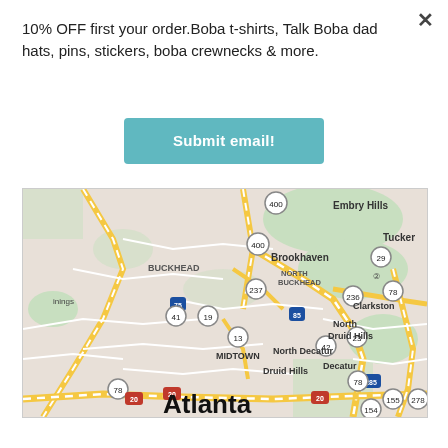×
10% OFF first your order.Boba t-shirts, Talk Boba dad hats, pins, stickers, boba crewnecks & more.
Submit email!
[Figure (map): Google Maps view of Atlanta, GA area showing neighborhoods including Buckhead, North Buckhead, Brookhaven, Embry Hills, Tucker, Clarkston, North Druid Hills, Midtown, Druid Hills, North Decatur, Decatur, Belvedere Park, and major highways including I-75, I-85, I-285, I-20, Routes 78, 29, 400, 237, 236, 155, 278, 154, 42, 23, 13, 41, 19.]
Atlanta